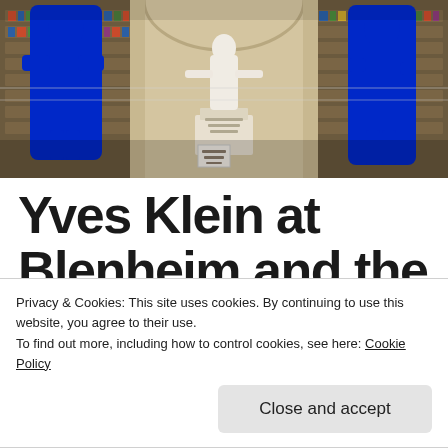[Figure (photo): Interior of a grand library or palace room with bookshelves. A white marble statue stands in the center on a pedestal. On either side are bright blue human figure sculptures (Yves Klein style). Horizontal faint lines cross the scene.]
Yves Klein at Blenheim and the Hyper Blue Trend
Privacy & Cookies: This site uses cookies. By continuing to use this website, you agree to their use.
To find out more, including how to control cookies, see here: Cookie Policy